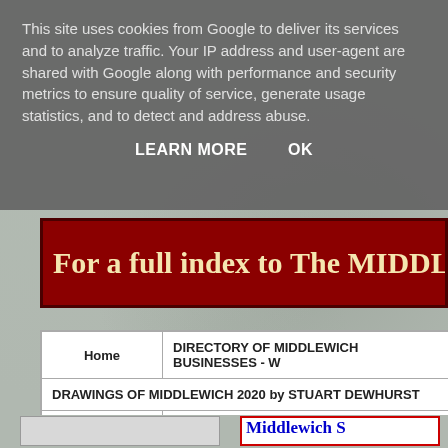This site uses cookies from Google to deliver its services and to analyze traffic. Your IP address and user-agent are shared with Google along with performance and security metrics to ensure quality of service, generate usage statistics, and to detect and address abuse.
LEARN MORE   OK
[Figure (screenshot): Red banner reading 'For a full index to The MIDDLEWICH' in bold serif font on dark red background]
| Home | DIRECTORY OF MIDDLEWICH BUSINESSES - W |
| DRAWINGS OF MIDDLEWICH 2020 by STUART DEWHURST |
| THE LYNNE MASSEY COLLECTION |  |
[Figure (screenshot): Bottom partial view showing blue text on white background with red border, partially visible]